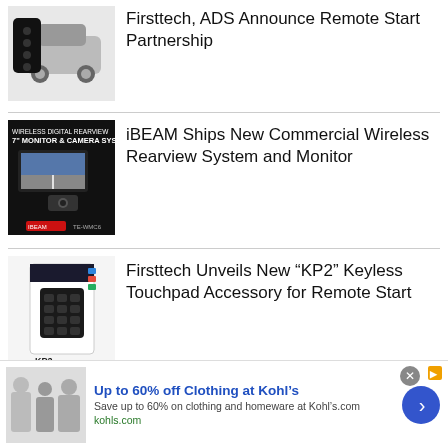[Figure (photo): Remote start device and car (Firsttech/ADS partnership)]
Firsttech, ADS Announce Remote Start Partnership
[Figure (photo): iBEAM Wireless Digital Rearview 7" Monitor & Camera System product photo]
iBEAM Ships New Commercial Wireless Rearview System and Monitor
[Figure (photo): Firsttech KP2 Keyless Touchpad Remote Start accessory product box]
Firsttech Unveils New “KP2” Keyless Touchpad Accessory for Remote Start
[Figure (photo): Kohl's advertisement showing clothing shoppers]
Up to 60% off Clothing at Kohl’s
Save up to 60% on clothing and homeware at Kohl’s.com
kohls.com